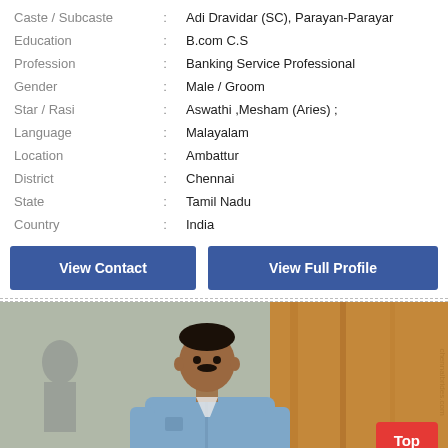| Caste / Subcaste | : | Adi Dravidar (SC), Parayan-Parayar |
| Education | : | B.com C.S |
| Profession | : | Banking Service Professional |
| Gender | : | Male / Groom |
| Star / Rasi | : | Aswathi ,Mesham (Aries) ; |
| Language | : | Malayalam |
| Location | : | Ambattur |
| District | : | Chennai |
| State | : | Tamil Nadu |
| Country | : | India |
View Contact
View Full Profile
[Figure (photo): Photo of a man in a light blue shirt standing indoors near a wooden surface]